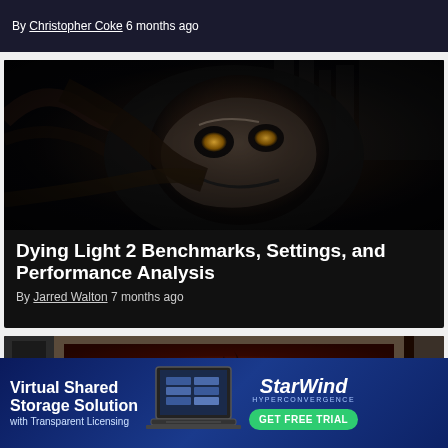By Christopher Coke 6 months ago
[Figure (photo): Dark screenshot from a horror/action video game showing a grotesque creature face with glowing eyes under dim lighting — article thumbnail for Dying Light 2]
Dying Light 2 Benchmarks, Settings, and Performance Analysis
By Jarred Walton 7 months ago
[Figure (photo): Partial screenshot showing a monitor displaying a game scene with orange/red fiery environment — article thumbnail for another gaming article]
[Figure (infographic): StarWind advertisement banner: Virtual Shared Storage Solution with Transparent Licensing. Shows laptop graphic and StarWind Hyperconvergence branding with GET FREE TRIAL button.]